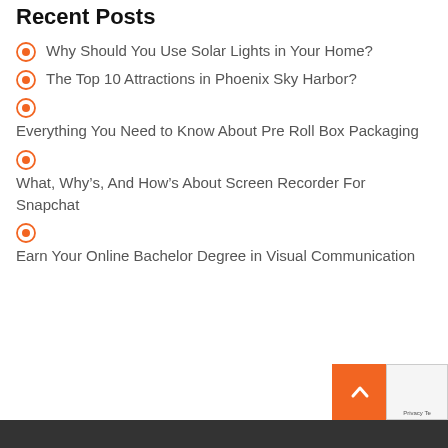Recent Posts
Why Should You Use Solar Lights in Your Home?
The Top 10 Attractions in Phoenix Sky Harbor?
Everything You Need to Know About Pre Roll Box Packaging
What, Why's, And How's About Screen Recorder For Snapchat
Earn Your Online Bachelor Degree in Visual Communication